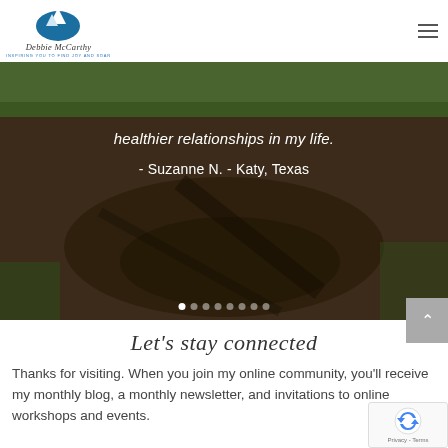[Figure (logo): Debbie McCarthy logo with mountain silhouette icon in blue, script name text and tagline 'Inspiring you to find joy and soar']
[Figure (photo): Outdoor photo of a bare dirt circular patch in grass lawn, used as hero/slider background image]
healthier relationships in my life.
- Suzanne N. - Katy, Texas
Let's stay connected
Thanks for visiting. When you join my online community, you'll receive my monthly blog, a monthly newsletter, and invitations to online workshops and events.